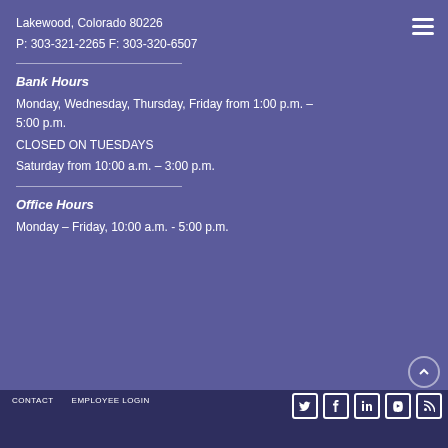Lakewood, Colorado 80226
P: 303-321-2265 F: 303-320-6507
Bank Hours
Monday, Wednesday, Thursday, Friday from 1:00 p.m. – 5:00 p.m.
CLOSED ON TUESDAYS
Saturday from 10:00 a.m. – 3:00 p.m.
Office Hours
Monday – Friday, 10:00 a.m. - 5:00 p.m.
CONTACT   EMPLOYEE LOGIN